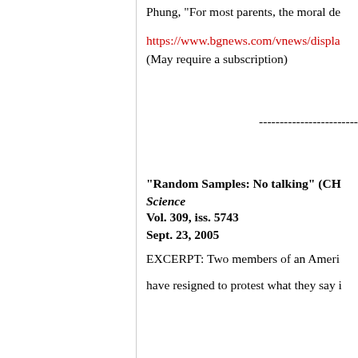Phung, "For most parents, the moral de
https://www.bgnews.com/vnews/displa
(May require a subscription)
------------------------
"Random Samples: No talking" (CH
Science
Vol. 309, iss. 5743
Sept. 23, 2005
EXCERPT: Two members of an Ameri
have resigned to protest what they say i